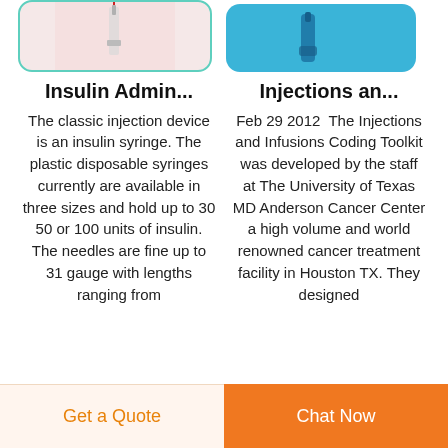[Figure (photo): Partial view of an insulin syringe on a pink/light background with teal border]
[Figure (photo): Partial view of an injection device on a blue background]
Insulin Admin...
Injections an...
The classic injection device is an insulin syringe. The plastic disposable syringes currently are available in three sizes and hold up to 30 50 or 100 units of insulin. The needles are fine up to 31 gauge with lengths ranging from
Feb 29 2012  The Injections and Infusions Coding Toolkit was developed by the staff at The University of Texas MD Anderson Cancer Center a high volume and world renowned cancer treatment facility in Houston TX. They designed
Get a Quote
Chat Now